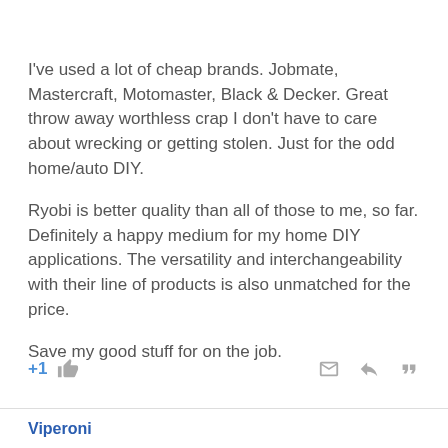I've used a lot of cheap brands. Jobmate, Mastercraft, Motomaster, Black & Decker. Great throw away worthless crap I don't have to care about wrecking or getting stolen. Just for the odd home/auto DIY.
Ryobi is better quality than all of those to me, so far. Definitely a happy medium for my home DIY applications. The versatility and interchangeability with their line of products is also unmatched for the price.
Save my good stuff for on the job.
+1 [thumbs up icon] [reply icon] [quote icon]
Viperoni